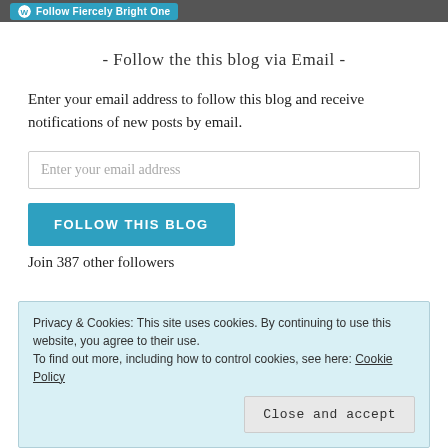[Figure (other): Teal WordPress Follow button labeled 'Follow Fiercely Bright One' on a dark grey bar]
- Follow the this blog via Email -
Enter your email address to follow this blog and receive notifications of new posts by email.
Enter your email address
FOLLOW THIS BLOG
Join 387 other followers
Privacy & Cookies: This site uses cookies. By continuing to use this website, you agree to their use.
To find out more, including how to control cookies, see here: Cookie Policy
Close and accept